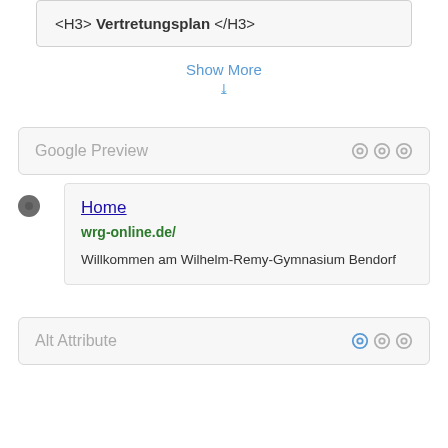<H3> Vertretungsplan </H3>
Show More
Google Preview
[Figure (screenshot): Google search preview card showing: Home, wrg-online.de/, Willkommen am Wilhelm-Remy-Gymnasium Bendorf]
Alt Attribute